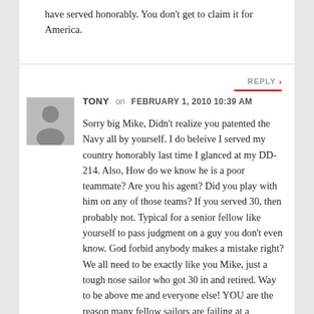have served honorably. You don't get to claim it for America.
REPLY
TONY on FEBRUARY 1, 2010 10:39 AM
Sorry big Mike, Didn't realize you patented the Navy all by yourself. I do beleive I served my country honorably last time I glanced at my DD-214. Also, How do we know he is a poor teammate? Are you his agent? Did you play with him on any of those teams? If you served 30, then probably not. Typical for a senior fellow like yourself to pass judgment on a guy you don't even know. God forbid anybody makes a mistake right? We all need to be exactly like you Mike, just a tough nose sailor who got 30 in and retired. Way to be above me and everyone else! YOU are the reason many fellow sailors are failing at a